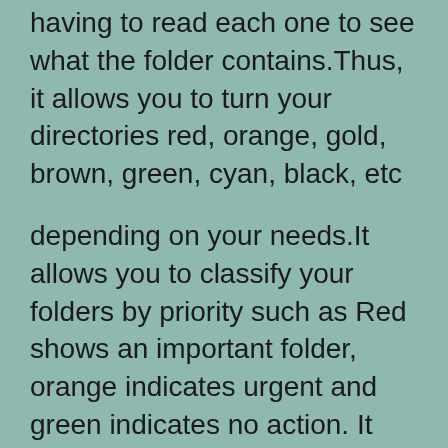having to read each one to see what the folder contains.Thus, it allows you to turn your directories red, orange, gold, brown, green, cyan, black, etc
depending on your needs.It allows you to classify your folders by priority such as Red shows an important folder, orange indicates urgent and green indicates no action. It also gives you the possibility to choose from various attributes that you like, so you'll never delete an important folder in error.
Working with this great tool is very simple, just select one of your folders, then one of the